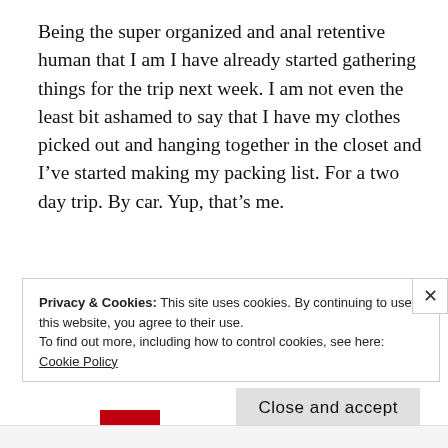Being the super organized and anal retentive human that I am I have already started gathering things for the trip next week. I am not even the least bit ashamed to say that I have my clothes picked out and hanging together in the closet and I've started making my packing list. For a two day trip. By car. Yup, that's me.
Privacy & Cookies: This site uses cookies. By continuing to use this website, you agree to their use.
To find out more, including how to control cookies, see here: Cookie Policy
Close and accept